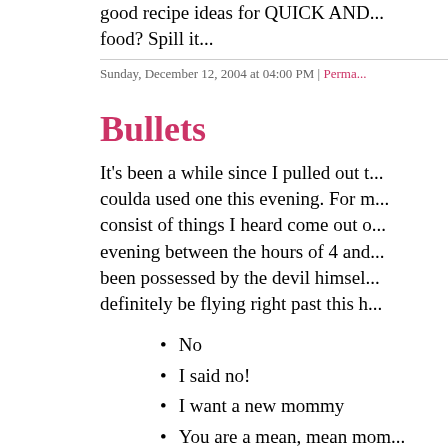good recipe ideas for QUICK AND... food? Spill it...
Sunday, December 12, 2004 at 04:00 PM | Perma...
Bullets
It's been a while since I pulled out t... coulda used one this evening. For m... consist of things I heard come out o... evening between the hours of 4 and... been possessed by the devil himsel... definitely be flying right past this h...
No
I said no!
I want a new mommy
You are a mean, mean mom...
Don't talk to me
I am done talking to you
Why won't you just buy tha... expensive and unearned to...